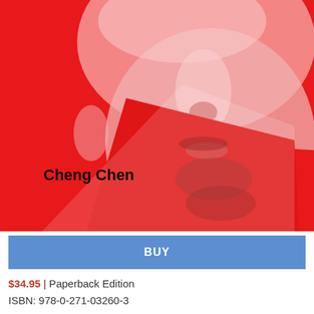[Figure (photo): Book cover with a red-tinted duotone portrait photo of a person's face close-up, with a red geometric shape overlay. Author name 'Cheng Chen' appears in bold black text on the lower left of the cover.]
BUY
$34.95 | Paperback Edition
ISBN: 978-0-271-03260-3